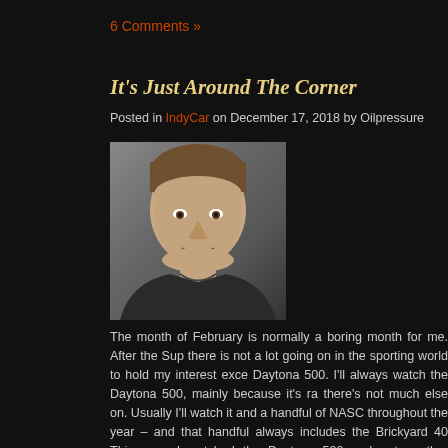6 Comments »
It’s Just Around The Corner
Posted in IndyCar on December 17, 2018 by Oilpressure
[Figure (photo): Headshot of a man with short brown hair, smiling, wearing a dark jacket]
The month of February is normally a boring month for me. After the Su there is not a lot going on in the sporting world to hold my interest exce Daytona 500. I’ll always watch the Daytona 500, mainly because it’s ra there’s not much else on. Usually I’ll watch it and a handful of NASC throughout the year – and that handful always includes the Brickyard 40 This year, I watched the Daytona 500 and not another NASCAR race. T necessarily what was intended, but I just didn’t find any motivation to another one.
Continue reading →
10 Comments »